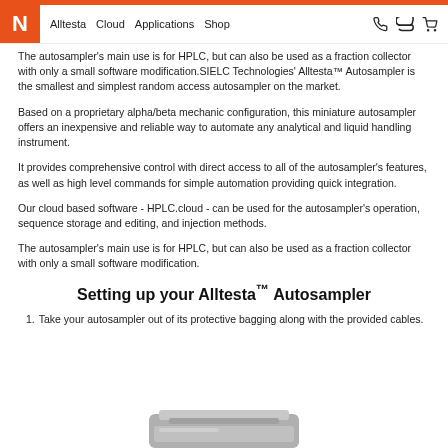N   Alltesta   Cloud   Applications   Shop
The autosampler's main use is for HPLC, but can also be used as a fraction collector with only a small software modification.SIELC Technologies' Alltesta™ Autosampler is the smallest and simplest random access autosampler on the market.
Based on a proprietary alpha/beta mechanic configuration, this miniature autosampler offers an inexpensive and reliable way to automate any analytical and liquid handling instrument.
It provides comprehensive control with direct access to all of the autosampler's features, as well as high level commands for simple automation providing quick integration.
Our cloud based software - HPLC.cloud - can be used for the autosampler's operation, sequence storage and editing, and injection methods.
The autosampler's main use is for HPLC, but can also be used as a fraction collector with only a small software modification.
Setting up your Alltesta™ Autosampler
Take your autosampler out of its protective bagging along with the provided cables.
[Figure (photo): Partial photo of the Alltesta Autosampler device, showing the top portion of the instrument in gray tones.]